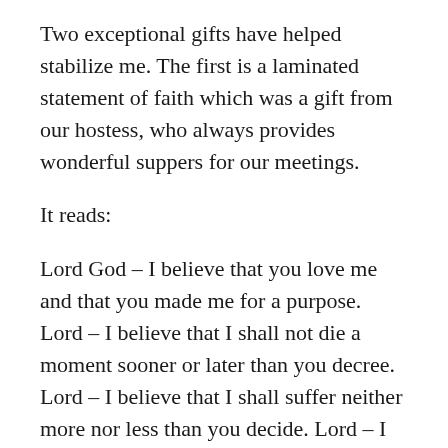Two exceptional gifts have helped stabilize me. The first is a laminated statement of faith which was a gift from our hostess, who always provides wonderful suppers for our meetings.
It reads:
Lord God – I believe that you love me and that you made me for a purpose. Lord – I believe that I shall not die a moment sooner or later than you decree. Lord – I believe that I shall suffer neither more nor less than you decide. Lord – I believe that I shall complete the work that you have planned for me to do on earth. Lord Jesus, as you died and rose from death, so